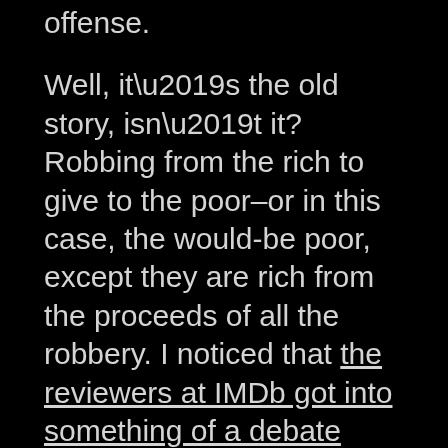offense.
Well, it’s the old story, isn’t it? Robbing from the rich to give to the poor–or in this case, the would-be poor, except they are rich from the proceeds of all the robbery. I noticed that the reviewers at IMDb got into something of a debate over the morality of the movie, specifically whether the butler’s actions were good or not. Obviously, you don’t want to read too much into a wacky romantic comedy movie, but even so